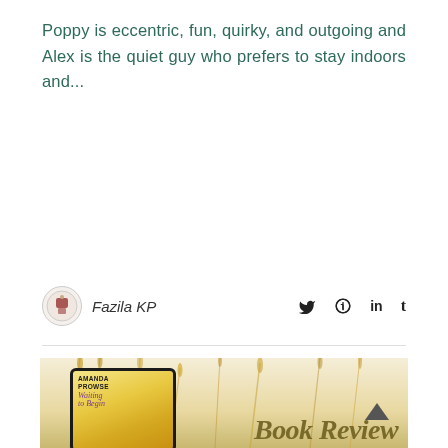Poppy is eccentric, fun, quirky, and outgoing and Alex is the quiet guy who prefers to stay indoors and...
READ MORE
Fazila KP
[Figure (photo): Book review image featuring Amanda Prowse 'Waiting to Begin' on a tablet device with wheat stalks background and 'Book Review' text overlay]